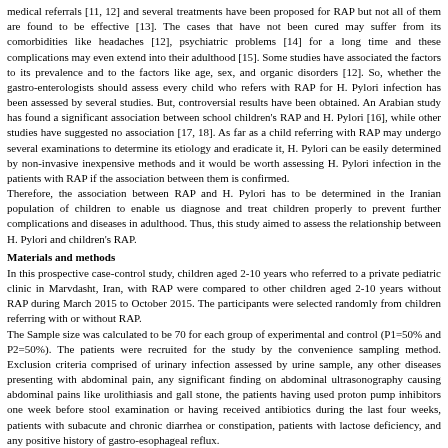medical referrals [11, 12] and several treatments have been proposed for RAP but not all of them are found to be effective [13]. The cases that have not been cured may suffer from its comorbidities like headaches [12], psychiatric problems [14] for a long time and these complications may even extend into their adulthood [15]. Some studies have associated the factors to its prevalence and to the factors like age, sex, and organic disorders [12]. So, whether the gastro-enterologists should assess every child who refers with RAP for H. Pylori infection has been assessed by several studies. But, controversial results have been obtained. An Arabian study has found a significant association between school children's RAP and H. Pylori [16], while other studies have suggested no association [17, 18]. As far as a child referring with RAP may undergo several examinations to determine its etiology and eradicate it, H. Pylori can be easily determined by non-invasive inexpensive methods and it would be worth assessing H. Pylori infection in the patients with RAP if the association between them is confirmed.
Therefore, the association between RAP and H. Pylori has to be determined in the Iranian population of children to enable us diagnose and treat children properly to prevent further complications and diseases in adulthood. Thus, this study aimed to assess the relationship between H. Pylori and children's RAP.
Materials and methods
In this prospective case-control study, children aged 2-10 years who referred to a private pediatric clinic in Marvdasht, Iran, with RAP were compared to other children aged 2-10 years without RAP during March 2015 to October 2015. The participants were selected randomly from children referring with or without RAP.
The Sample size was calculated to be 70 for each group of experimental and control (P1=50% and P2=50%). The patients were recruited for the study by the convenience sampling method. Exclusion criteria comprised of urinary infection assessed by urine sample, any other diseases presenting with abdominal pain, any significant finding on abdominal ultrasonography causing abdominal pains like urolithiasis and gall stone, the patients having used proton pump inhibitors one week before stool examination or having received antibiotics during the last four weeks, patients with subacute and chronic diarrhea or constipation, patients with lactose deficiency, and any positive history of gastro-esophageal reflux.
The demographic data of all the patients and the findings of stool test for H. Pylori were recorded. All patients were visited by a pediatrician in a clinic and the details of history having been taken and the physical examination were also recorded.Urinary infection was considered positive if more than